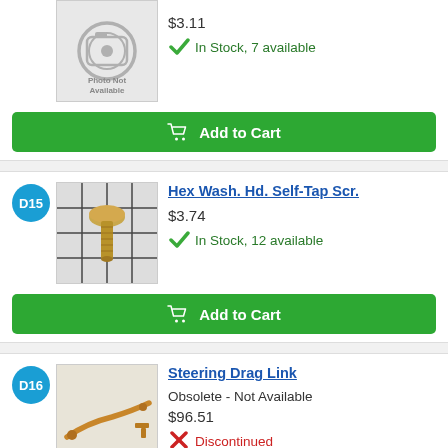[Figure (photo): Photo Not Available placeholder image for a product]
$3.11
In Stock, 7 available
Add to Cart
D15
[Figure (photo): Photo of a hex wash head self-tapping screw on a grid background]
Hex Wash. Hd. Self-Tap Scr.
$3.74
In Stock, 12 available
Add to Cart
D16
[Figure (photo): Photo of a steering drag link rod/part]
Steering Drag Link
Obsolete - Not Available
$96.51
Discontinued